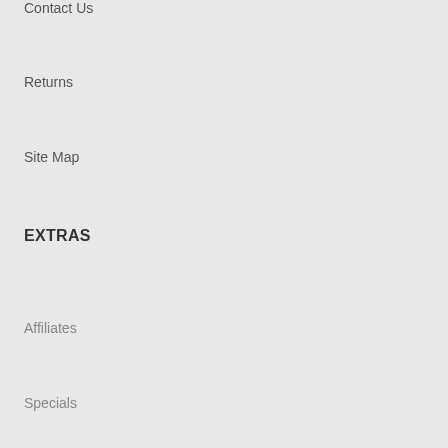Contact Us
Returns
Site Map
EXTRAS
Affiliates
Specials
MY ACCOUNT
My Account
Order History
Wish List
Newsletter
Specials